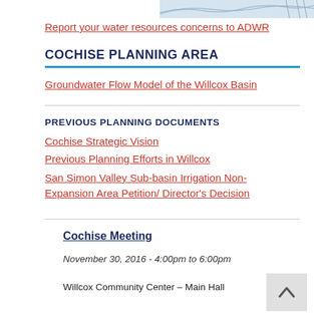[Figure (map): Partial map image visible at top right of the page, showing what appears to be a regional water basin map.]
Report your water resources concerns to ADWR
COCHISE PLANNING AREA
Groundwater Flow Model of the Willcox Basin
PREVIOUS PLANNING DOCUMENTS
Cochise Strategic Vision
Previous Planning Efforts in Willcox
San Simon Valley Sub-basin Irrigation Non-Expansion Area Petition/ Director's Decision
Cochise Meeting
November 30, 2016 - 4:00pm to 6:00pm
Willcox Community Center – Main Hall